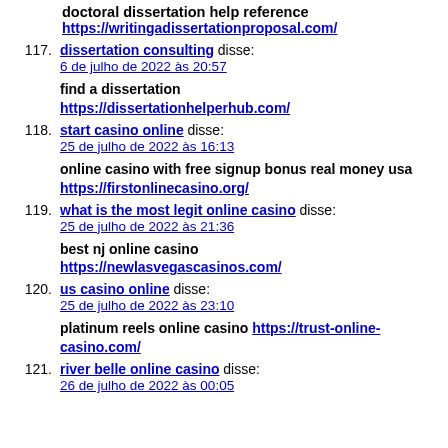doctoral dissertation help reference https://writingadissertationproposal.com/
117. dissertation consulting disse: 6 de julho de 2022 às 20:57 — find a dissertation https://dissertationhelperhub.com/
118. start casino online disse: 25 de julho de 2022 às 16:13 — online casino with free signup bonus real money usa https://firstonlinecasino.org/
119. what is the most legit online casino disse: 25 de julho de 2022 às 21:36 — best nj online casino https://newlasvegascasinos.com/
120. us casino online disse: 25 de julho de 2022 às 23:10 — platinum reels online casino https://trust-online-casino.com/
121. river belle online casino disse: 26 de julho de 2022 às 00:05